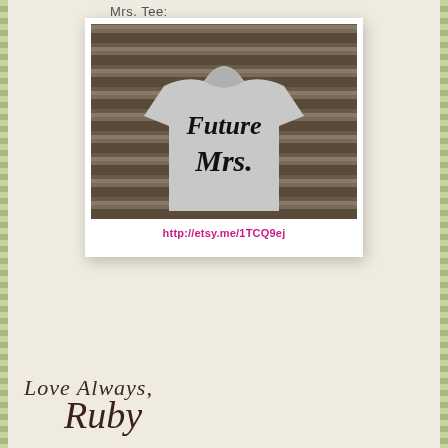Mrs. Tee:
[Figure (photo): Polaroid-style photo of a woman wearing a grey V-neck t-shirt printed with 'Future Mrs.' in black script lettering, standing in front of a wooden background. Below the photo is a URL link: http://etsy.me/1TCQ9ej]
http://etsy.me/1TCQ9ej
Love Always,
Ruby